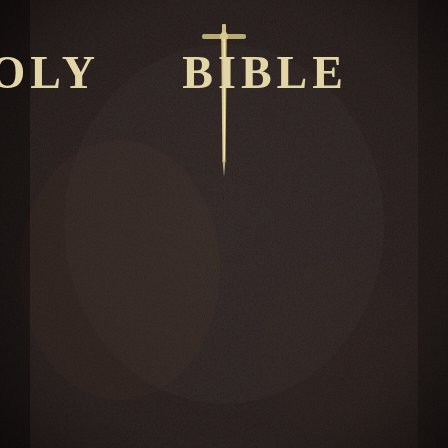[Figure (illustration): Holy Bible book cover — black leather-textured cover with gold/cream text reading 'HOLY BIBLE' and a decorative sword/cross emblem centered between the two words, with the sword blade extending downward toward the center of the cover.]